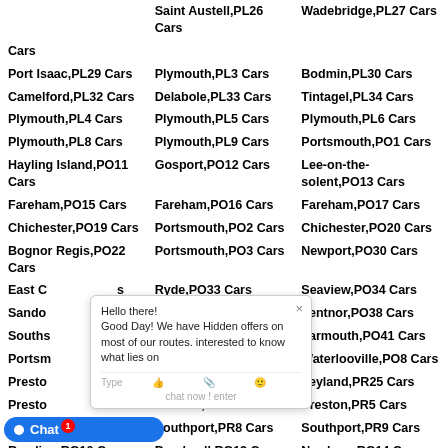Saint Austell,PL26 Cars
Wadebridge,PL27 Cars
Cars
Port Isaac,PL29 Cars
Plymouth,PL3 Cars
Bodmin,PL30 Cars
Camelford,PL32 Cars
Delabole,PL33 Cars
Tintagel,PL34 Cars
Plymouth,PL4 Cars
Plymouth,PL5 Cars
Plymouth,PL6 Cars
Plymouth,PL8 Cars
Plymouth,PL9 Cars
Portsmouth,PO1 Cars
Hayling Island,PO11 Cars
Gosport,PO12 Cars
Lee-on-the-solent,PO13 Cars
Fareham,PO15 Cars
Fareham,PO16 Cars
Fareham,PO17 Cars
Chichester,PO19 Cars
Portsmouth,PO2 Cars
Chichester,PO20 Cars
Bognor Regis,PO22 Cars
Portsmouth,PO3 Cars
Newport,PO30 Cars
East C... Cars
Ryde,PO33 Cars
Seaview,PO34 Cars
Sando...
Shanklin,PO37 Cars
Ventnor,PO38 Cars
Souths...
Freshwater,PO40 Cars
Yarmouth,PO41 Cars
Portsm...
Waterlooville,PO7 Cars
Waterlooville,PO8 Cars
Presto...
Preston,PR2 Cars
Leyland,PR25 Cars
Presto...
Preston,PR4 Cars
Preston,PR5 Cars
C... Cars
Southport,PR8 Cars
Southport,PR9 Cars
Reading,RG10 Cars
Bracknell,RG12 Cars
Newbury,RG14 Cars